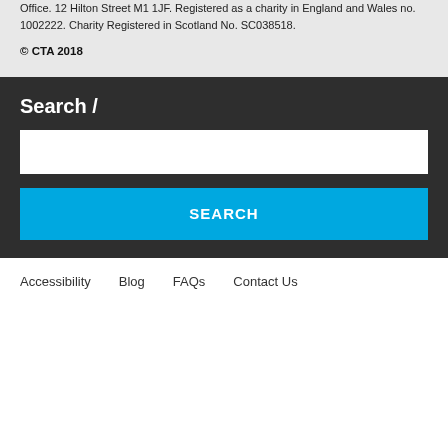Office. 12 Hilton Street M1 1JF. Registered as a charity in England and Wales no. 1002222. Charity Registered in Scotland No. SC038518.
© CTA 2018
Search /
SEARCH
Accessibility   Blog   FAQs   Contact Us